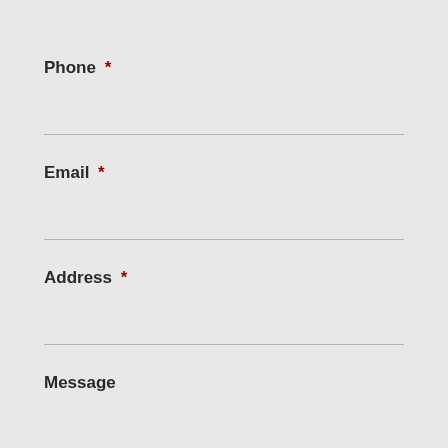Phone *
Email *
Address *
Message